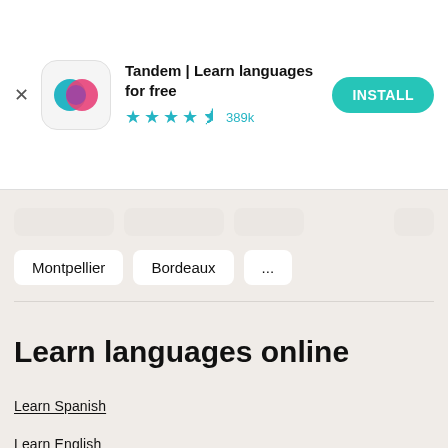[Figure (screenshot): App install banner for Tandem | Learn languages for free, showing app icon with overlapping teal and pink circles, 4.5 star rating with 389k reviews, and a teal INSTALL button]
Montpellier
Bordeaux
...
Learn languages online
Learn Spanish
Learn English
Learn Italian